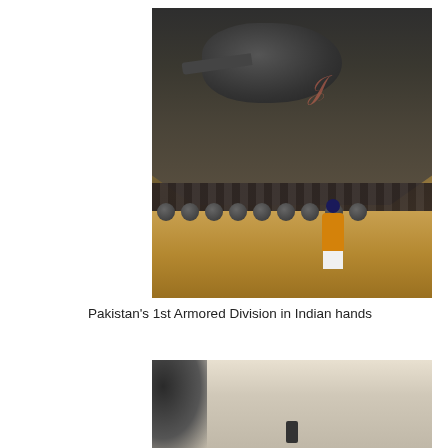[Figure (photo): Color photograph of captured Pakistani tanks (likely T-59/T-54 type) with a person in yellow/orange clothing and dark blue turban standing in front of one of the tanks. The tanks are in sandy/dusty terrain. Red markings visible on tank turret.]
Pakistan's 1st Armored Division in Indian hands
[Figure (photo): Black and white photograph, partially visible at bottom of page, showing a distant landscape with dark foliage or debris on the left side and a small human figure in the center distance.]